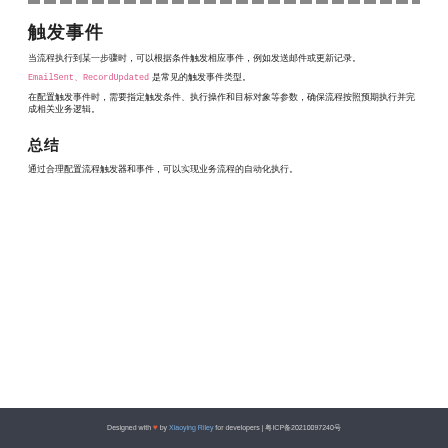（decorative dashed border line）
触发事件
当流程执行到某一步骤时，可以根据条件触发相应事件，例如发送邮件或更新记录。
EmailSent、RecordUpdated 是常见的触发事件类型。
在配置触发事件时，需要指定触发条件、执行操作和目标对象等参数，确保流程按照预期执行并完成相关业务逻辑。
总结
通过合理配置流程触发器和事件，可以实现业务流程的自动化执行。
Designed with ❤ by Xiaoying Riley for developers | 粤ICP备20210097240号